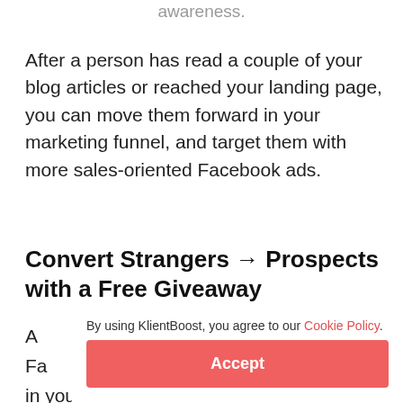awareness.
After a person has read a couple of your blog articles or reached your landing page, you can move them forward in your marketing funnel, and target them with more sales-oriented Facebook ads.
Convert Strangers → Prospects with a Free Giveaway
A
Fa
in your product is to offer something of value for
By using KlientBoost, you agree to our Cookie Policy.
Accept